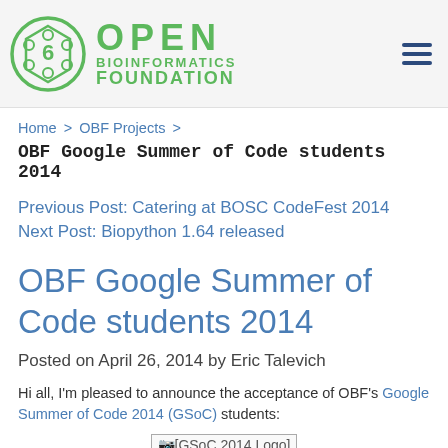[Figure (logo): Open Bioinformatics Foundation logo: green circle with hexagon icon on left, text OPEN BIOINFORMATICS FOUNDATION in green on right, hamburger menu icon top right]
Home > OBF Projects >
OBF Google Summer of Code students 2014
Previous Post: Catering at BOSC CodeFest 2014
Next Post: Biopython 1.64 released
OBF Google Summer of Code students 2014
Posted on April 26, 2014 by Eric Talevich
Hi all, I'm pleased to announce the acceptance of OBF's Google Summer of Code 2014 (GSoC) students:
[Figure (logo): [GSoC 2014 Logo]]